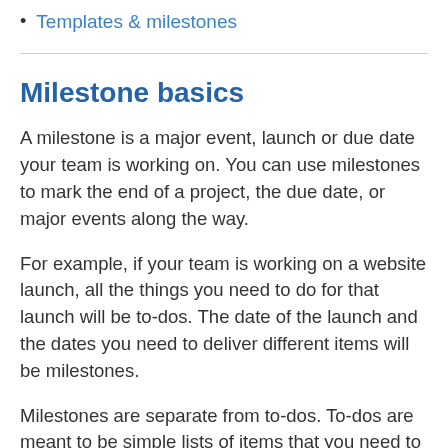Templates & milestones
Milestone basics
A milestone is a major event, launch or due date your team is working on. You can use milestones to mark the end of a project, the due date, or major events along the way.
For example, if your team is working on a website launch, all the things you need to do for that launch will be to-dos. The date of the launch and the dates you need to deliver different items will be milestones.
Milestones are separate from to-dos. To-dos are meant to be simple lists of items that you need to